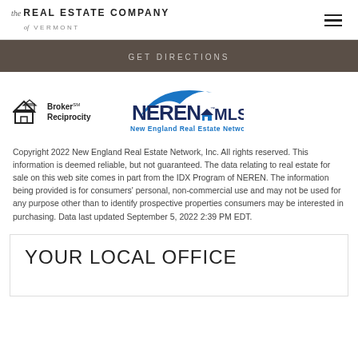the REAL ESTATE COMPANY of VERMONT
GET DIRECTIONS
[Figure (logo): Broker Reciprocity logo with house icon and text]
[Figure (logo): NEREN MLS New England Real Estate Network logo]
Copyright 2022 New England Real Estate Network, Inc. All rights reserved. This information is deemed reliable, but not guaranteed. The data relating to real estate for sale on this web site comes in part from the IDX Program of NEREN. The information being provided is for consumers' personal, non-commercial use and may not be used for any purpose other than to identify prospective properties consumers may be interested in purchasing. Data last updated September 5, 2022 2:39 PM EDT.
YOUR LOCAL OFFICE